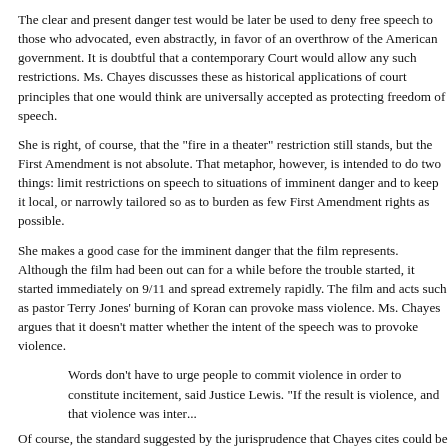The clear and present danger test would be later be used to deny free speech to those who advocated, even abstractly, in favor of an overthrow of the American government. It is doubtful that a contemporary Court would allow any such restrictions. Ms. Chayes discusses these as historical applications of court principles that one would think are universally accepted as protecting freedom of speech.
She is right, of course, that the "fire in a theater" restriction still stands, but the First Amendment is not absolute. That metaphor, however, is intended to do two things: limit restrictions on speech to situations of imminent danger and to keep it local, or narrowly tailored so as to burden as few First Amendment rights as possible.
She makes a good case for the imminent danger that the film represents. Although the film had been out can for a while before the trouble started, it started immediately on 9/11 and spread extremely rapidly. The film and acts such as pastor Terry Jones' burning of Koran can provoke mass violence. Ms. Chayes argues that it doesn't matter whether the intent of the speech was to provoke violence.
Words don't have to urge people to commit violence in order to constitute incitement, said Justice Lewis. "If the result is violence, and that violence was inter...
Of course, the standard suggested by the jurisprudence that Chayes cites could be dangerous. If adopted by the Court, the government could crack down on any speech that provoked violence. In the current environment, that could include virtually any film or book critical of Islam or Islamists. A scholarly work that undermined doctrinal histories of Islam could qualify. Even if the standard is limited to actual violence, the threat to freedom of s...
Surely Salman Rushdie's novel The Satanic Verses would lose First Amendment protection. No one anyone has actually died because of this novel, but no one can argu...